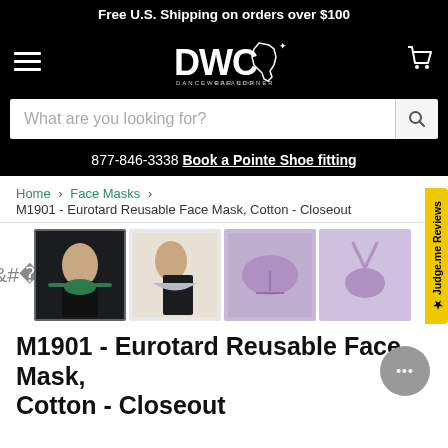Free U.S. Shipping on orders over $100
[Figure (logo): DWC Dancewear Corner Orlando logo with Florida state outline, white on black background]
What are you looking for?
877-846-3338 Book a Pointe Shoe fitting
Home > Face Masks > M1901 - Eurotard Reusable Face Mask, Cotton - Closeout
[Figure (photo): Product thumbnail images of Eurotard Reusable Face Masks in green and purple/lavender colors, showing different angles and views]
M1901 - Eurotard Reusable Face Mask, Cotton - Closeout